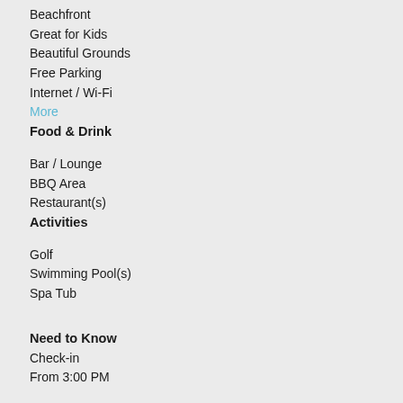Beachfront
Great for Kids
Beautiful Grounds
Free Parking
Internet / Wi-Fi
More
Food & Drink
Bar / Lounge
BBQ Area
Restaurant(s)
Activities
Golf
Swimming Pool(s)
Spa Tub
Need to Know
Check-in
From 3:00 PM